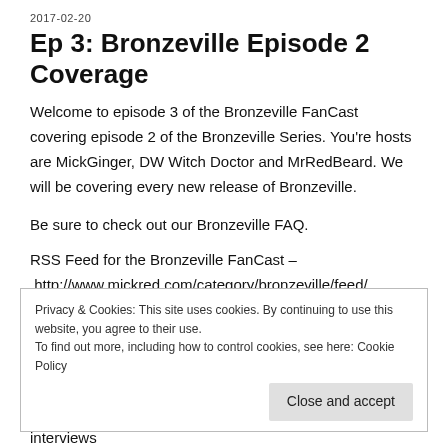2017-02-20
Ep 3: Bronzeville Episode 2 Coverage
Welcome to episode 3 of the Bronzeville FanCast covering episode 2 of the Bronzeville Series. You’re hosts are MickGinger, DW Witch Doctor and MrRedBeard. We will be covering every new release of Bronzeville.
Be sure to check out our Bronzeville FAQ.
RSS Feed for the Bronzeville FanCast –
 http://www.mickred.com/category/bronzeville/feed/
Privacy & Cookies: This site uses cookies. By continuing to use this website, you agree to their use.
To find out more, including how to control cookies, see here: Cookie Policy
Close and accept
interviews